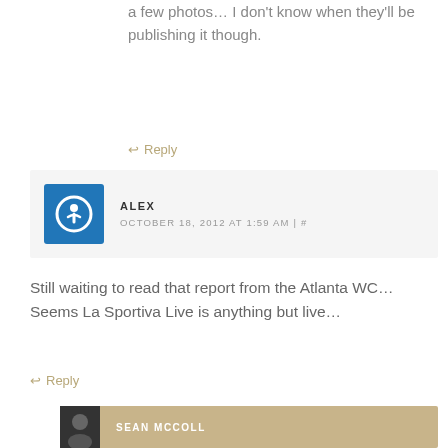a few photos… I don't know when they'll be publishing it though.
↩ Reply
ALEX
OCTOBER 18, 2012 AT 1:59 AM | #
Still waiting to read that report from the Atlanta WC… Seems La Sportiva Live is anything but live…
↩ Reply
SEAN MCCOLL